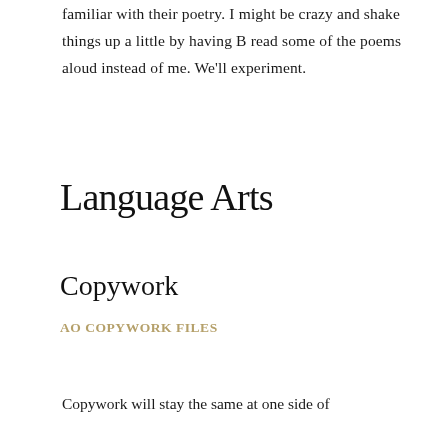familiar with their poetry. I might be crazy and shake things up a little by having B read some of the poems aloud instead of me. We'll experiment.
Language Arts
Copywork
AO Copywork Files
Copywork will stay the same at one side of